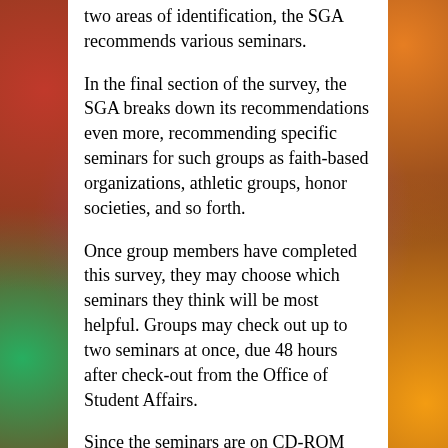two areas of identification, the SGA recommends various seminars.
In the final section of the survey, the SGA breaks down its recommendations even more, recommending specific seminars for such groups as faith-based organizations, athletic groups, honor societies, and so forth.
Once group members have completed this survey, they may choose which seminars they think will be most helpful. Groups may check out up to two seminars at once, due 48 hours after check-out from the Office of Student Affairs.
Since the seminars are on CD-ROM and not DVD, they cannot be shown on a traditional DVD player. However, Decker Auditorium, as well as several other rooms in Hill Hall and Hoover Library are equipped to show the seminars.